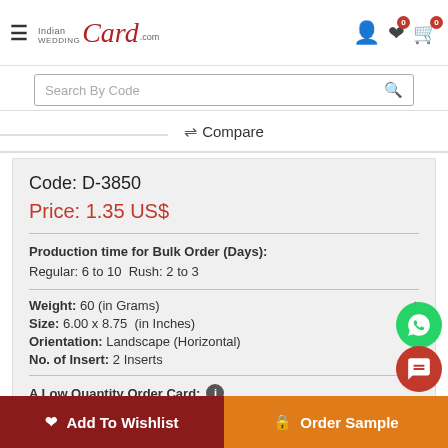Indian Wedding Card .com
Search By Code
Compare
Code: D-3850
Price: 1.35 US$
Production time for Bulk Order (Days): Regular: 6 to 10  Rush: 2 to 3
Weight: 60 (in Grams)
Size: 6.00 x 8.75  (in Inches)
Orientation: Landscape (Horizontal)
No. of Insert: 2 Inserts
A Low Quantity Order Card:
Add To Wishlist
Order Sample